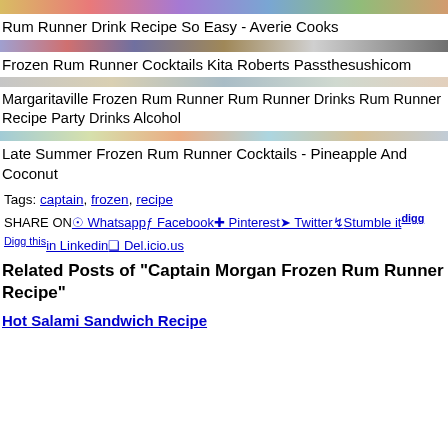[Figure (photo): Colorful image strip at top]
Rum Runner Drink Recipe So Easy - Averie Cooks
[Figure (photo): Image strip divider]
Frozen Rum Runner Cocktails Kita Roberts Passthesushicom
[Figure (photo): Image strip divider gray]
Margaritaville Frozen Rum Runner Rum Runner Drinks Rum Runner Recipe Party Drinks Alcohol
[Figure (photo): Image strip divider colorful]
Late Summer Frozen Rum Runner Cocktails - Pineapple And Coconut
Tags: captain, frozen, recipe
SHARE ON Whatsapp Facebook Pinterest Twitter Stumble it Digg this Linkedin Del.icio.us
Related Posts of "Captain Morgan Frozen Rum Runner Recipe"
Hot Salami Sandwich Recipe